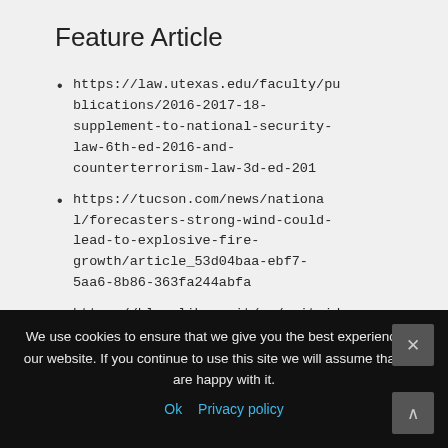Feature Article
https://law.utexas.edu/faculty/publications/2016-2017-18-supplement-to-national-security-law-6th-ed-2016-and-counterterrorism-law-3d-ed-201
https://tucson.com/news/national/forecasters-strong-wind-could-lead-to-explosive-fire-growth/article_53d04baa-ebf7-5aa6-8b86-363fa244abfa
https://blog.libero.it/wp/quitaidar/2022/04/23/highly-initial-factors-about-male-
We use cookies to ensure that we give you the best experience on our website. If you continue to use this site we will assume that you are happy with it.
Ok  Privacy policy